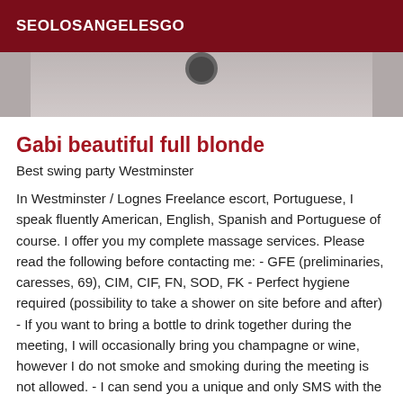SEOLOSANGELESGO
[Figure (photo): Partial photo strip showing a blurred image, likely a person, with dark and light tones]
Gabi beautiful full blonde
Best swing party Westminster
In Westminster / Lognes Freelance escort, Portuguese, I speak fluently American, English, Spanish and Portuguese of course. I offer you my complete massage services. Please read the following before contacting me: - GFE (preliminaries, caresses, 69), CIM, CIF, FN, SOD, FK - Perfect hygiene required (possibility to take a shower on site before and after) - If you want to bring a bottle to drink together during the meeting, I will occasionally bring you champagne or wine, however I do not smoke and smoking during the meeting is not allowed. - I can send you a unique and only SMS with the services, conditions and meeting place, any other request and appointment will be by phone, I do not exchange SMS. - No negotiations on rates please, if you